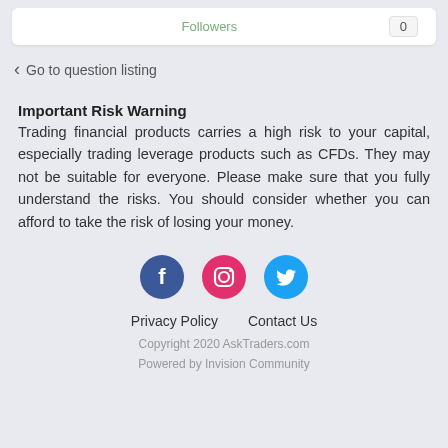Followers  0
< Go to question listing
Important Risk Warning
Trading financial products carries a high risk to your capital, especially trading leverage products such as CFDs. They may not be suitable for everyone. Please make sure that you fully understand the risks. You should consider whether you can afford to take the risk of losing your money.
[Figure (illustration): Social media icons: Facebook (blue circle), Instagram (pink/red circle), Twitter (light blue circle)]
Privacy Policy  Contact Us
Copyright 2020 AskTraders.com
Powered by Invision Community